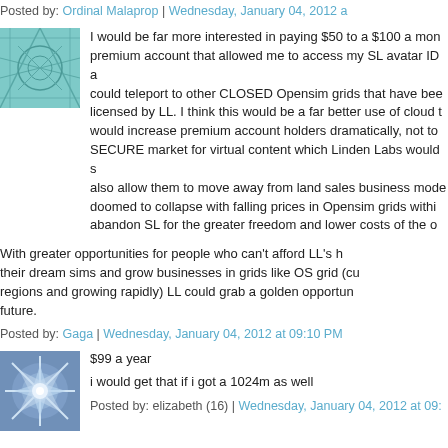Posted by: Ordinal Malaprop | Wednesday, January 04, 2012 a...
I would be far more interested in paying $50 to a $100 a mon... premium account that allowed me to access my SL avatar ID a... could teleport to other CLOSED Opensim grids that have bee... licensed by LL. I think this would be a far better use of cloud t... would increase premium account holders dramatically, not to... SECURE market for virtual content which Linden Labs would s... also allow them to move away from land sales business mode... doomed to collapse with falling prices in Opensim grids withi... abandon SL for the greater freedom and lower costs of the o...
With greater opportunities for people who can't afford LL's h... their dream sims and grow businesses in grids like OS grid (cu... regions and growing rapidly) LL could grab a golden opportun... future.
Posted by: Gaga | Wednesday, January 04, 2012 at 09:10 PM
$99 a year
i would get that if i got a 1024m as well
Posted by: elizabeth (16) | Wednesday, January 04, 2012 at 09:...